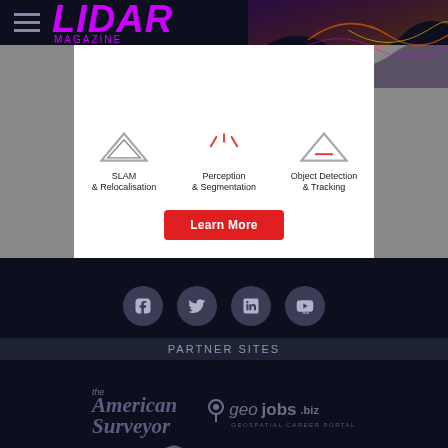LIDAR MAGAZINE
[Figure (screenshot): Advertisement card showing SLAM & Relocalisation, Perception & Segmentation, Object Detection & Tracking icons with a Learn More button]
[Figure (infographic): Social media icons: Facebook, Twitter, LinkedIn, YouTube in dark circular buttons]
PARTNER SITES
[Figure (logo): The American Surveyor logo in dark gray italic script]
[Figure (logo): geojobs.biz - Geospatial Career Portal logo]
[Figure (logo): GISuser Beyond the Map logo with sphere icon]